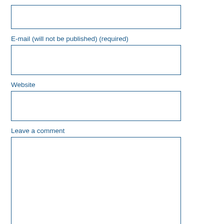[Figure (other): Empty text input box (top, partially visible)]
E-mail (will not be published) (required)
[Figure (other): Empty text input box for e-mail]
Website
[Figure (other): Empty text input box for website]
Leave a comment
[Figure (other): Large empty textarea for comment with resize handle]